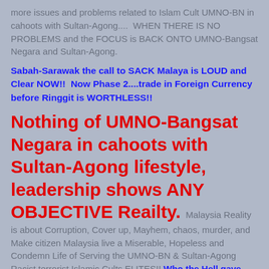more issues and problems related to Islam Cult UMNO-BN in cahoots with Sultan-Agong....  WHEN THERE IS NO PROBLEMS and the FOCUS is BACK ONTO UMNO-Bangsat Negara and Sultan-Agong.
Sabah-Sarawak the call to SACK Malaya is LOUD and Clear NOW!!  Now Phase 2....trade in Foreign Currency before Ringgit is WORTHLESS!!
Nothing of UMNO-Bangsat Negara in cahoots with Sultan-Agong lifestyle, leadership shows ANY OBJECTIVE Reailty.  Malaysia Reality is about Corruption, Cover up, Mayhem, chaos, murder, and Make citizen Malaysia live a Miserable, Hopeless and Condemn Life of Serving the UMNO-BN & Sultan-Agong Racist terrorist Islamic Cults ELITES!! Who the Hell gave them the Rightsa to Associated with Orang Asli as Bumiputera??  After associating with the "SCAM Rights"...they take the